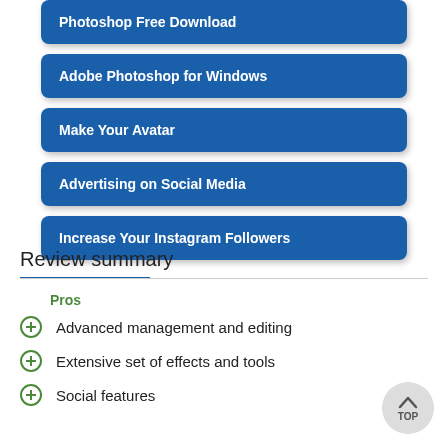Photoshop Free Download
Adobe Photoshop for Windows
Make Your Avatar
Advertising on Social Media
Increase Your Instagram Followers
Review summary
Pros
Advanced management and editing
Extensive set of effects and tools
Social features